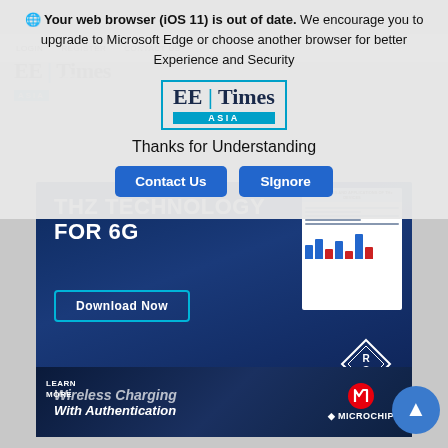[Figure (screenshot): Browser outdated warning overlay on EE Times Asia website showing iOS 11 out of date message with Contact Us and Ignore buttons, overlaid on EE Times Asia website with Rohde & Schwarz THZ Technology for 6G advertisement and Microchip wireless charging banner]
Your web browser (iOS 11) is out of date. We encourage you to upgrade to Microsoft Edge or choose another browser for better Experience and Security
[Figure (logo): EE Times ASIA logo in overlay]
Thanks for Understanding
Contact Us
Ignore
THZ TECHNOLOGY FOR 6G
Download Now
ROHDE & SCHWARZ
Wireless Charging With Authentication
LEARN MORE
MICROCHIP